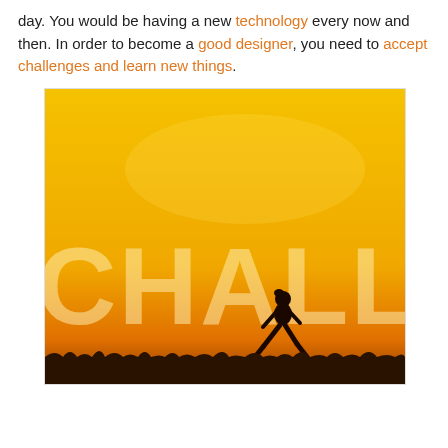day. You would be having a new technology every now and then. In order to become a good designer, you need to accept challenges and learn new things.
[Figure (photo): A motivational photo with a golden/yellow background showing the word CHALLENGE in large semi-transparent white letters, with a silhouette of a person running across the bottom of the image against a dark ground with a sunset sky.]